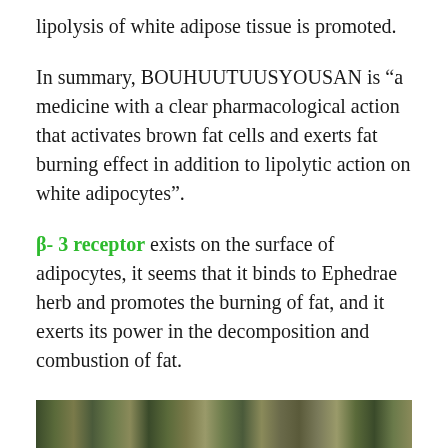lipolysis of white adipose tissue is promoted.
In summary, BOUHUUTUUSYOUSAN is “a medicine with a clear pharmacological action that activates brown fat cells and exerts fat burning effect in addition to lipolytic action on white adipocytes”.
β- 3 receptor exists on the surface of adipocytes, it seems that it binds to Ephedrae herb and promotes the burning of fat, and it exerts its power in the decomposition and combustion of fat.
Well, I guess so … .
[Figure (photo): A photograph strip at the bottom of the page showing a natural scene, likely herbs or plants.]